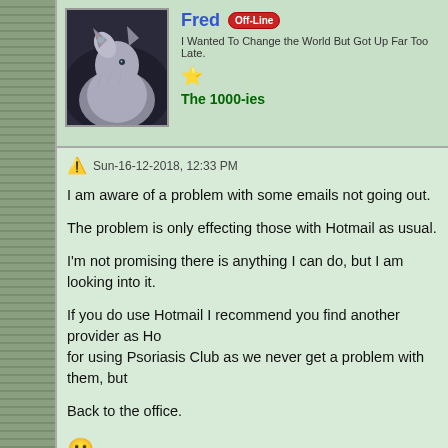[Figure (photo): Avatar photo of a howling wolf against dark background, square framed]
Fred  Off-Line
I Wanted To Change the World But Got Up Far Too Late.
The 1000-ies
Sun-16-12-2018, 12:33 PM
I am aware of a problem with some emails not going out.
The problem is only effecting those with Hotmail as usual.
I'm not promising there is anything I can do, but I am looking into it.
If you do use Hotmail I recommend you find another provider as Ho... for using Psoriasis Club as we never get a problem with them, but ...
Back to the office.